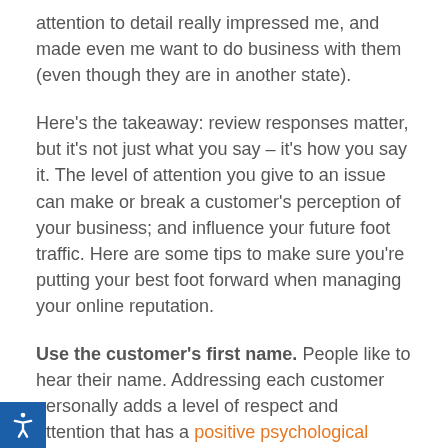attention to detail really impressed me, and made even me want to do business with them (even though they are in another state).
Here's the takeaway: review responses matter, but it's not just what you say – it's how you say it. The level of attention you give to an issue can make or break a customer's perception of your business; and influence your future foot traffic. Here are some tips to make sure you're putting your best foot forward when managing your online reputation.
Use the customer's first name. People like to hear their name. Addressing each customer personally adds a level of respect and attention that has a positive psychological influence.
Address each point made. Whether the review is in